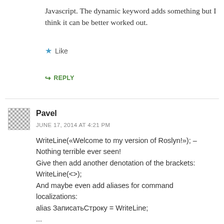Javascript. The dynamic keyword adds something but I think it can be better worked out.
★ Like
↳ REPLY
Pavel
JUNE 17, 2014 AT 4:21 PM
WriteLine(«Welcome to my version of Roslyn!»); – Nothing terrible ever seen!
Give then add another denotation of the brackets: WriteLine(<>);
And maybe even add aliases for command localizations:
alias ЗаписатьСтроку = WriteLine;
...
ЗаписатьСтроку(<>);